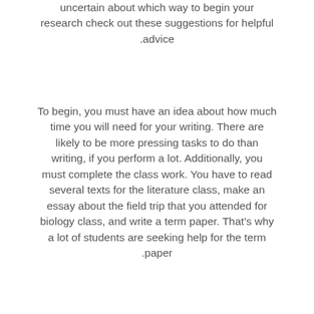uncertain about which way to begin your research check out these suggestions for helpful advice.
To begin, you must have an idea about how much time you will need for your writing. There are likely to be more pressing tasks to do than writing, if you perform a lot. Additionally, you must complete the class work. You have to read several texts for the literature class, make an essay about the field trip that you attended for biology class, and write a term paper. That's why a lot of students are seeking help for the term paper.